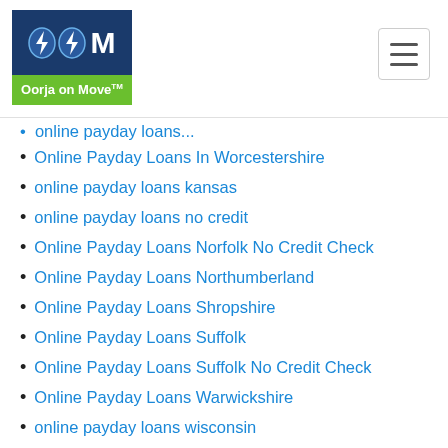Oorja on Move
Online Payday Loans In Worcestershire
online payday loans kansas
online payday loans no credit
Online Payday Loans Norfolk No Credit Check
Online Payday Loans Northumberland
Online Payday Loans Shropshire
Online Payday Loans Suffolk
Online Payday Loans Suffolk No Credit Check
Online Payday Loans Warwickshire
online payday loans wisconsin
online payday loans with no credit check
Online Payday Loans With No Credit Check Bedfordshire
Online Payday Loans With No Credit Check Isle Of Wight
Online Payday Loans With No Credit Check Nottinghamshire